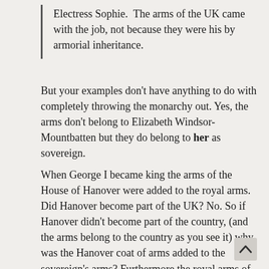Electress Sophie.  The arms of the UK came with the job, not because they were his by armorial inheritance.
But your examples don't have anything to do with completely throwing the monarchy out. Yes, the arms don't belong to Elizabeth Windsor-Mountbatten but they do belong to her as sovereign.
When George I became king the arms of the House of Hanover were added to the royal arms. Did Hanover become part of the UK? No. So if Hanover didn't become part of the country, (and the arms belong to the country as you see it) why was the Hanover coat of arms added to the sovereign's arms? Furthermore the royal arms of the UK became the coat of arms of Hanover (first as an electorate and also as a kingdom). But the UK and Hanover weren't united into one kingdom. So, why use